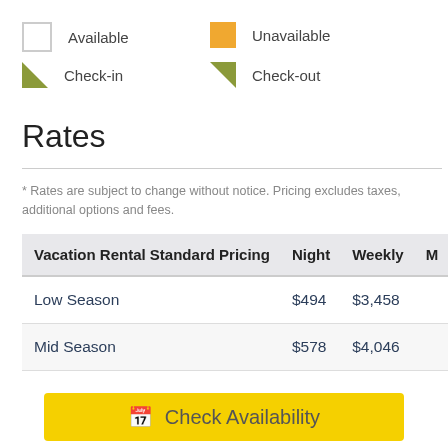Available
Unavailable
Check-in
Check-out
Rates
* Rates are subject to change without notice. Pricing excludes taxes, additional options and fees.
| Vacation Rental Standard Pricing | Night | Weekly | M |
| --- | --- | --- | --- |
| Low Season | $494 | $3,458 |  |
| Mid Season | $578 | $4,046 |  |
| High Season | $641 | $4,487 |  |
Check Availability